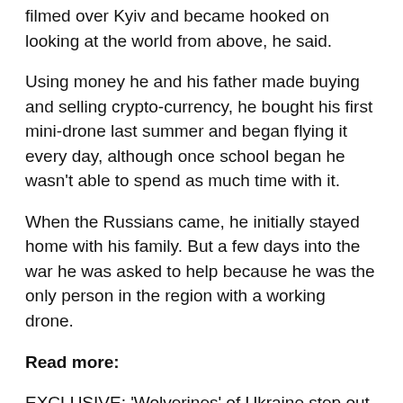filmed over Kyiv and became hooked on looking at the world from above, he said.
Using money he and his father made buying and selling crypto-currency, he bought his first mini-drone last summer and began flying it every day, although once school began he wasn't able to spend as much time with it.
When the Russians came, he initially stayed home with his family. But a few days into the war he was asked to help because he was the only person in the region with a working drone.
Read more:
EXCLUSIVE: 'Wolverines' of Ukraine step out of shadows
Because his neighbors frowned on his drone, fearing it would